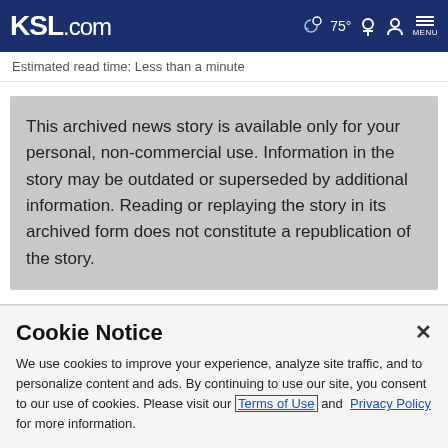KSL.com  75° MENU
Estimated read time: Less than a minute
This archived news story is available only for your personal, non-commercial use. Information in the story may be outdated or superseded by additional information. Reading or replaying the story in its archived form does not constitute a republication of the story.
Cookie Notice
We use cookies to improve your experience, analyze site traffic, and to personalize content and ads. By continuing to use our site, you consent to our use of cookies. Please visit our Terms of Use and Privacy Policy for more information.